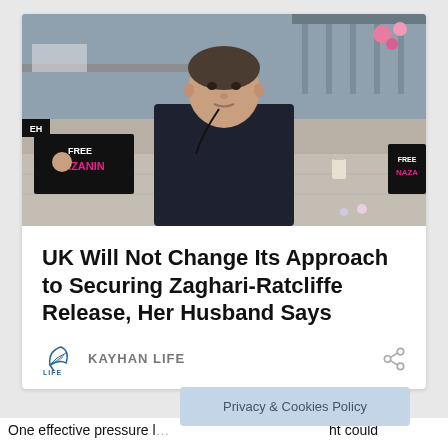[Figure (photo): Man sitting outdoors in front of 'Free Nazanin' protest signs and banners, wearing a dark jacket]
UK Will Not Change Its Approach to Securing Zaghari-Ratcliffe Release, Her Husband Says
KAYHAN LIFE
One effective pressure l... ...ht could